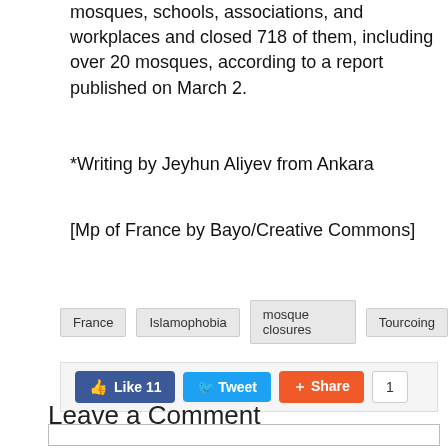mosques, schools, associations, and workplaces and closed 718 of them, including over 20 mosques, according to a report published on March 2.
*Writing by Jeyhun Aliyev from Ankara
[Mp of France by Bayo/Creative Commons]
France
Islamophobia
mosque closures
Tourcoing
Like 11  Tweet  Share  1
Leave a Comment
Name (required)